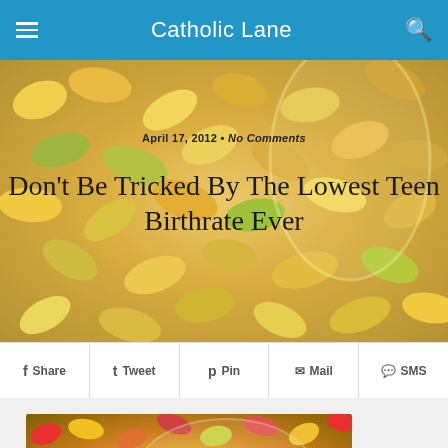Catholic Lane
[Figure (photo): Close-up photo of colorful jelly beans spilling from a glass jar, in shades of yellow, orange, green, and other colors]
April 17, 2012 • No Comments
Don't Be Tricked By The Lowest Teen Birthrate Ever
Share  Tweet  Pin  Mail  SMS
[Figure (photo): Colorful jelly beans in a glass jar, vivid reds, yellows, greens, pinks visible]